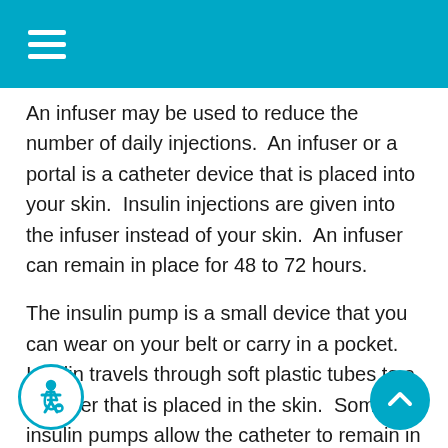An infuser may be used to reduce the number of daily injections.  An infuser or a portal is a catheter device that is placed into your skin.  Insulin injections are given into the infuser instead of your skin.  An infuser can remain in place for 48 to 72 hours.
The insulin pump is a small device that you can wear on your belt or carry in a pocket.  Insulin travels through soft plastic tubes to a catheter that is placed in the skin.  Some insulin pumps allow the catheter to remain in place while only needles are removed.  The insulin pumps are computerized to deliver steady doses of insulin and surge doses  per